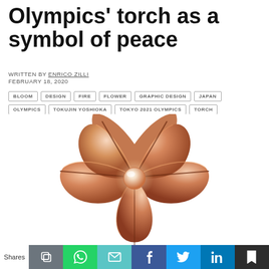Olympics' torch as a symbol of peace
WRITTEN BY ENRICO ZILLI
FEBRUARY 18, 2020
BLOOM
DESIGN
FIRE
FLOWER
GRAPHIC DESIGN
JAPAN
OLYMPICS
TOKUJIN YOSHIOKA
TOKYO 2021 OLYMPICS
TORCH
[Figure (photo): Close-up photograph of the Tokyo 2020 Olympics torch, shaped like a cherry blossom flower in rose gold/copper color, with petal-like curved metallic forms and a central sphere emitting light.]
Shares | share buttons: copy link, WhatsApp, email, Facebook, Twitter, LinkedIn, bookmark